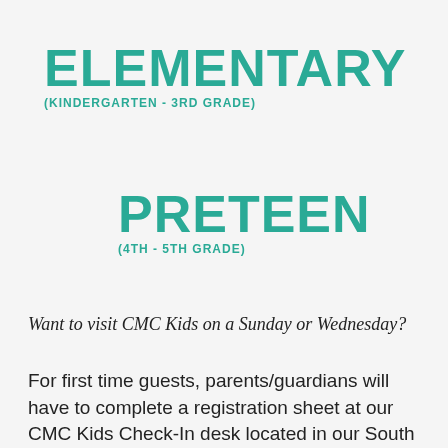ELEMENTARY
(KINDERGARTEN - 3rd GRADE)
PRETEEN
(4th - 5th GRADE)
Want to visit CMC Kids on a Sunday or Wednesday?
For first time guests, parents/guardians will have to complete a registration sheet at our CMC Kids Check-In desk located in our South Lobby (lower